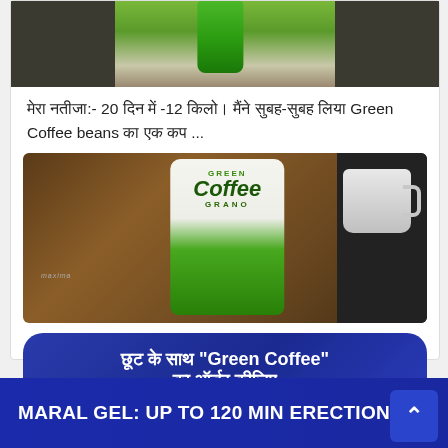[Figure (photo): Top portion of a green drink/smoothie in a glass, cropped at top of card]
मेरा नतीजा:- 20 दिन में -12 किलो। मैंने सुबह-सुबह लिया Green Coffee beans का एक कप ...
[Figure (photo): Product photo of Green Coffee Grano bag with coffee appliance and white cup on brown table background]
छूट के साथ "Green Coffee" का ऑर्डर कीजिए
MARAL GEL: UP TO 120 MIN ERECTION